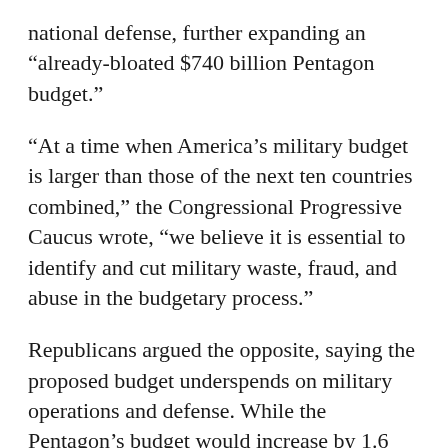national defense, further expanding an “already-bloated $740 billion Pentagon budget.”
“At a time when America’s military budget is larger than those of the next ten countries combined,” the Congressional Progressive Caucus wrote, “we believe it is essential to identify and cut military waste, fraud, and abuse in the budgetary process.”
Republicans argued the opposite, saying the proposed budget underspends on military operations and defense. While the Pentagon’s budget would increase by 1.6 percent under Biden’s proposal — representing a record military expenditure — it’s still the smallest increase of any federal agency.
House and Senate Republicans released a